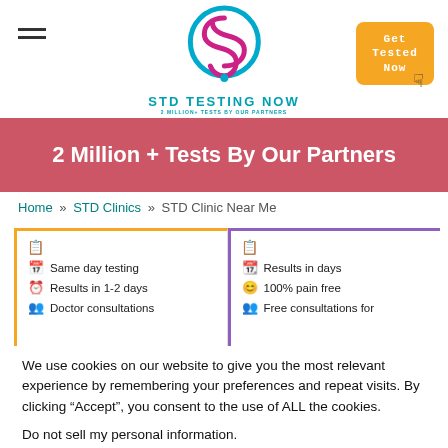[Figure (logo): STD Testing Now logo with stylized S symbol in teal and pink, and text 'STD TESTING NOW' below]
2 Million + Tests By Our Partners
Home » STD Clinics » STD Clinic Near Me
Same day testing
Results in 1-2 days
Doctor consultations
Results in days
100% pain free
Free consultations for
We use cookies on our website to give you the most relevant experience by remembering your preferences and repeat visits. By clicking “Accept”, you consent to the use of ALL the cookies.
Do not sell my personal information.
Cookie settings
ACCEPT